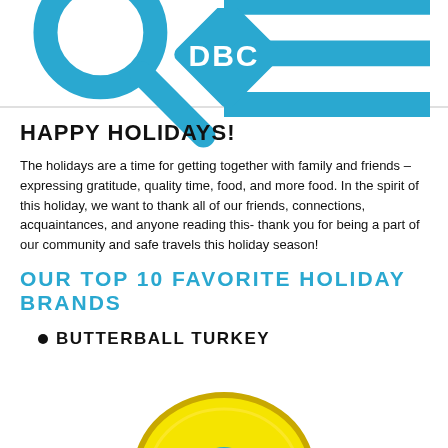DBC logo with search and menu icons
HAPPY HOLIDAYS!
The holidays are a time for getting together with family and friends – expressing gratitude, quality time, food, and more food. In the spirit of this holiday, we want to thank all of our friends, connections, acquaintances, and anyone reading this- thank you for being a part of our community and safe travels this holiday season!
OUR TOP 10 FAVORITE HOLIDAY BRANDS
BUTTERBALL TURKEY
[Figure (logo): Butterball brand logo, yellow circular label partially visible at bottom of page]